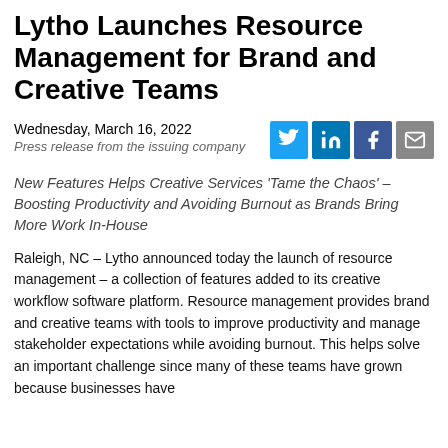Lytho Launches Resource Management for Brand and Creative Teams
Wednesday, March 16, 2022
Press release from the issuing company
New Features Helps Creative Services ‘Tame the Chaos’ – Boosting Productivity and Avoiding Burnout as Brands Bring More Work In-House
Raleigh, NC – Lytho announced today the launch of resource management – a collection of features added to its creative workflow software platform. Resource management provides brand and creative teams with tools to improve productivity and manage stakeholder expectations while avoiding burnout. This helps solve an important challenge since many of these teams have grown because businesses have